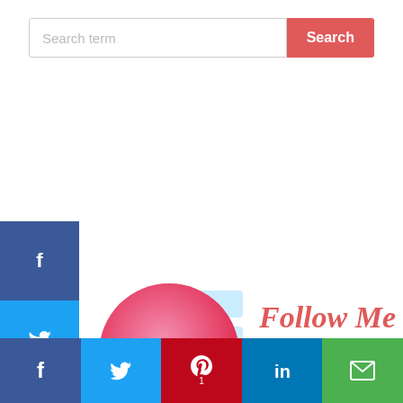[Figure (screenshot): Search bar with placeholder text 'Search term' and a red 'Search' button]
[Figure (infographic): Pinterest follow banner: Pinterest logo circle with 'Follow Me Aimee Cerka On Pinterest' text in script and serif fonts. Social share sidebar with Facebook (blue), Twitter (blue), Pinterest (red), LinkedIn (blue), Email (green) buttons. Bottom horizontal social share bar with same icons.]